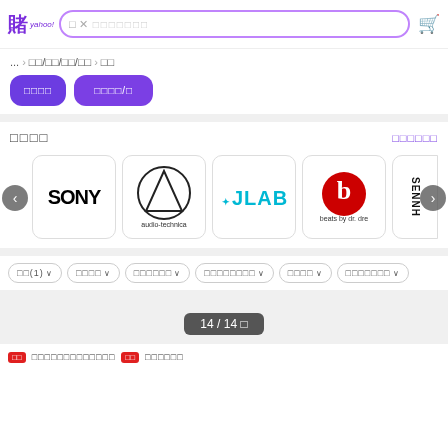Yahoo Shopping header with search bar and cart icon
... > □□/□□/□□/□□ > □□
□□□□  □□□□/□
□□□□
□□□□□□
[Figure (logo): SONY logo]
[Figure (logo): Audio-Technica logo]
[Figure (logo): JLab logo]
[Figure (logo): Beats by Dr. Dre logo]
[Figure (logo): Sennheiser logo (partial)]
□□(1) ∨  □□□□ ∨  □□□□□□ ∨  □□□□□□□□ ∨  □□□□ ∨  □□□□□□□ ∨
14 / 14 □
□□□□□□□□□□□□□□